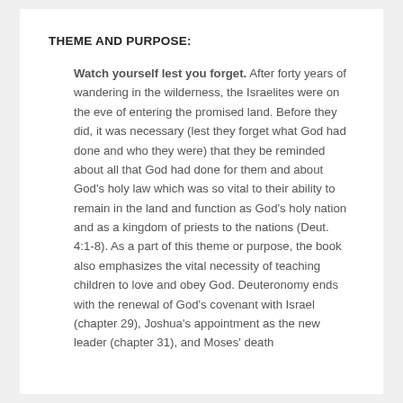THEME AND PURPOSE:
Watch yourself lest you forget. After forty years of wandering in the wilderness, the Israelites were on the eve of entering the promised land. Before they did, it was necessary (lest they forget what God had done and who they were) that they be reminded about all that God had done for them and about God's holy law which was so vital to their ability to remain in the land and function as God's holy nation and as a kingdom of priests to the nations (Deut. 4:1-8). As a part of this theme or purpose, the book also emphasizes the vital necessity of teaching children to love and obey God. Deuteronomy ends with the renewal of God's covenant with Israel (chapter 29), Joshua's appointment as the new leader (chapter 31), and Moses' death